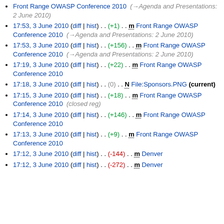Front Range OWASP Conference 2010 (→Agenda and Presentations: 2 June 2010)
17:53, 3 June 2010 (diff | hist) . . (+1) . . m Front Range OWASP Conference 2010 (→Agenda and Presentations: 2 June 2010)
17:53, 3 June 2010 (diff | hist) . . (+156) . . m Front Range OWASP Conference 2010 (→Agenda and Presentations: 2 June 2010)
17:19, 3 June 2010 (diff | hist) . . (+22) . . m Front Range OWASP Conference 2010
17:18, 3 June 2010 (diff | hist) . . (0) . . N File:Sponsors.PNG (current)
17:15, 3 June 2010 (diff | hist) . . (+18) . . m Front Range OWASP Conference 2010 (closed reg)
17:14, 3 June 2010 (diff | hist) . . (+146) . . m Front Range OWASP Conference 2010
17:13, 3 June 2010 (diff | hist) . . (+9) . . m Front Range OWASP Conference 2010
17:12, 3 June 2010 (diff | hist) . . (-144) . . m Denver
17:12, 3 June 2010 (diff | hist) . . (-272) . . m Denver